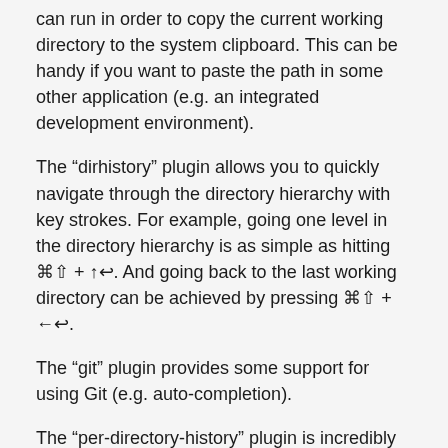can run in order to copy the current working directory to the system clipboard. This can be handy if you want to paste the path in some other application (e.g. an integrated development environment).
The “dirhistory” plugin allows you to quickly navigate through the directory hierarchy with key strokes. For example, going one level in the directory hierarchy is as simple as hitting ⌘⇧ + ↑↩. And going back to the last working directory can be achieved by pressing ⌘⇧ + ←↩.
The “git” plugin provides some support for using Git (e.g. auto-completion).
The “per-directory-history” plugin is incredibly useful. It safes the history of commands separately for each directory. So when you are switching between working on different projects, the commands used in one project will not clutter the history of commands for a different project.